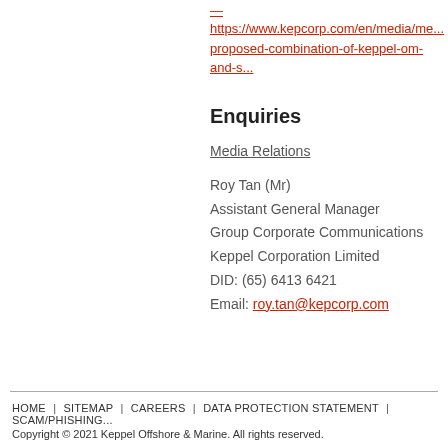— https://www.kepcorp.com/en/media/me... proposed-combination-of-keppel-om-and-s...
Enquiries
Media Relations
Roy Tan (Mr)
Assistant General Manager
Group Corporate Communications
Keppel Corporation Limited
DID: (65) 6413 6421
Email: roy.tan@kepcorp.com
HOME | SITEMAP | CAREERS | DATA PROTECTION STATEMENT | SCAM/PHISHING...
Copyright © 2021 Keppel Offshore & Marine. All rights reserved.